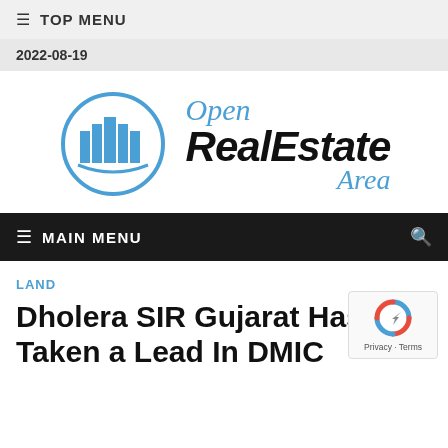≡ TOP MENU
2022-08-19
[Figure (logo): Open RealEstate Area logo with blue circular building icon on left and stylized text on right]
≡ MAIN MENU
LAND
Dholera SIR Gujarat Has Taken a Lead In DMIC